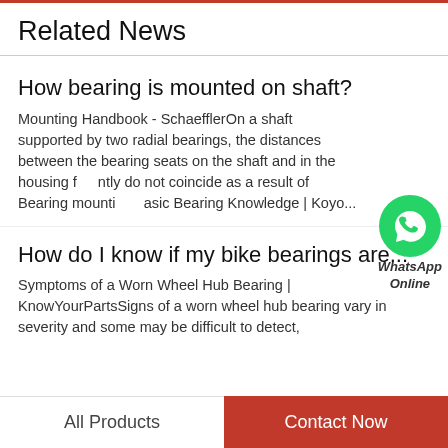Related News
How bearing is mounted on shaft?
Mounting Handbook - SchaefflerOn a shaft supported by two radial bearings, the distances between the bearing seats on the shaft and in the housing frequently do not coincide as a result of  Bearing mounting basic Bearing Knowledge | Koyo...
[Figure (logo): WhatsApp Online green icon with label 'WhatsApp Online']
How do I know if my bike bearings are...
Symptoms of a Worn Wheel Hub Bearing | KnowYourPartsSigns of a worn wheel hub bearing vary in severity and some may be difficult to detect,
All Products   Contact Now